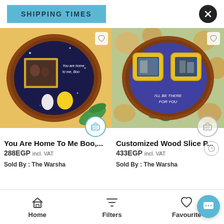SHIPPING TIMES
[Figure (photo): Wood slice painting with SpongeBob theme and photo, 'You are home to me Boo' text on dark blue background]
[Figure (photo): Customized wood slice painting with Friends TV show theme, two photo frames, 'I'll be there for you' text on purple background]
You Are Home To Me Boo,...
288EGP incl. VAT
Sold By : The Warsha
Customized Wood Slice P...
433EGP incl. VAT
Sold By : The Warsha
Home  Filters  Favourite